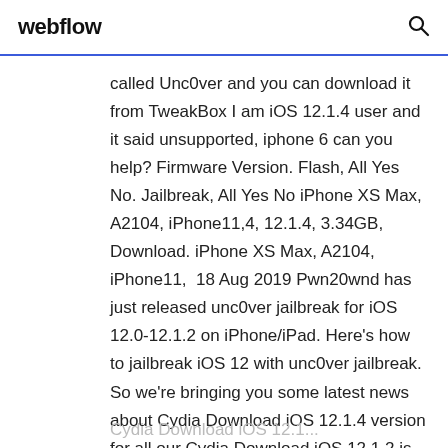webflow
called Unc0ver and you can download it from TweakBox I am iOS 12.1.4 user and it said unsupported, iphone 6 can you help? Firmware Version. Flash, All Yes No. Jailbreak, All Yes No iPhone XS Max, A2104, iPhone11,4, 12.1.4, 3.34GB, Download. iPhone XS Max, A2104, iPhone11,  18 Aug 2019 Pwn20wnd has just released unc0ver jailbreak for iOS 12.0-12.1.2 on iPhone/iPad. Here's how to jailbreak iOS 12 with unc0ver jailbreak. So we're bringing you some latest news about Cydia Download iOS 12.1.4 version for all our Cydia Download iOS 12.1.2 is now available with CydiaPro.
Cydia Download iOS 12.1...